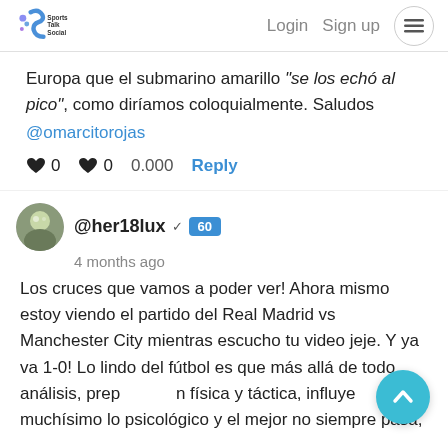Sports Talk Social — Login  Sign up  ☰
Europa que el submarino amarillo "se los echó al pico", como diríamos coloquialmente. Saludos @omarcitorojas
♥ 0  ♥ 0  0.000  Reply
@her18lux ✓ 60
4 months ago
Los cruces que vamos a poder ver! Ahora mismo estoy viendo el partido del Real Madrid vs Manchester City mientras escucho tu video jeje. Y ya va 1-0! Lo lindo del fútbol es que más allá de todo análisis, preparación física y táctica, influye muchísimo lo psicológico y el mejor no siempre pasa,